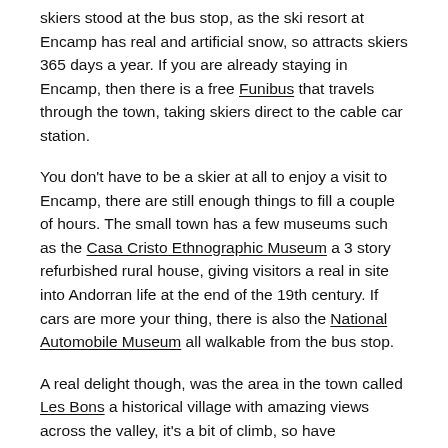skiers stood at the bus stop, as the ski resort at Encamp has real and artificial snow, so attracts skiers 365 days a year. If you are already staying in Encamp, then there is a free Funibus that travels through the town, taking skiers direct to the cable car station.
You don't have to be a skier at all to enjoy a visit to Encamp, there are still enough things to fill a couple of hours. The small town has a few museums such as the Casa Cristo Ethnographic Museum a 3 story refurbished rural house, giving visitors a real in site into Andorran life at the end of the 19th century. If cars are more your thing, there is also the National Automobile Museum all walkable from the bus stop.
A real delight though, was the area in the town called Les Bons a historical village with amazing views across the valley, it's a bit of climb, so have